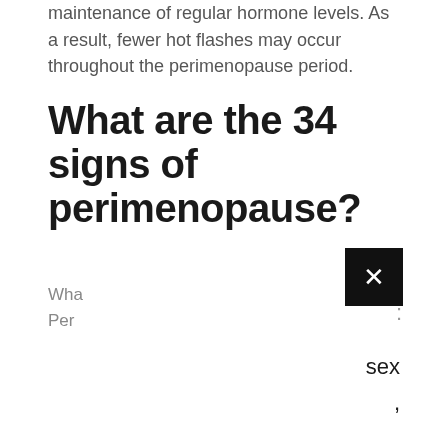maintenance of regular hormone levels. As a result, fewer hot flashes may occur throughout the perimenopause period.
What are the 34 signs of perimenopause?
Wha
Per
[Figure (other): Black close button (X) overlay element]
sex
,